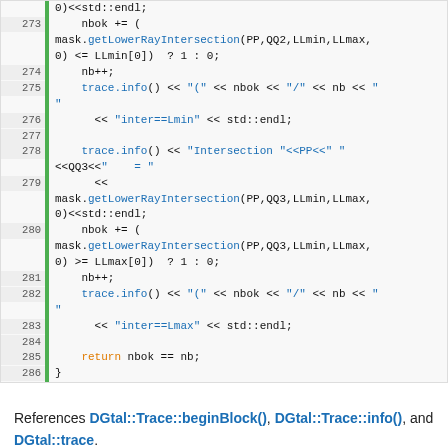[Figure (screenshot): Source code listing showing lines 273-286 of C++ code with syntax highlighting. Lines show getLowerRayIntersection calls, nbok increments, trace.info outputs, and a return statement.]
References DGtal::Trace::beginBlock(), DGtal::Trace::info(), and DGtal::trace.
Referenced by main().